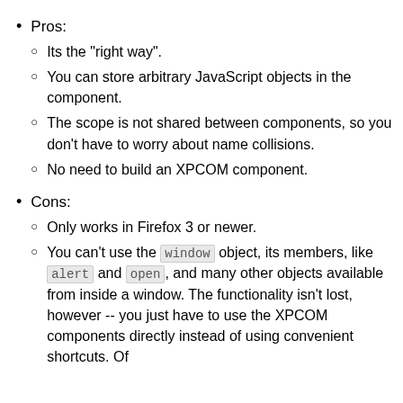Pros:
Its the "right way".
You can store arbitrary JavaScript objects in the component.
The scope is not shared between components, so you don't have to worry about name collisions.
No need to build an XPCOM component.
Cons:
Only works in Firefox 3 or newer.
You can't use the window object, its members, like alert and open, and many other objects available from inside a window. The functionality isn't lost, however -- you just have to use the XPCOM components directly instead of using convenient shortcuts. Of